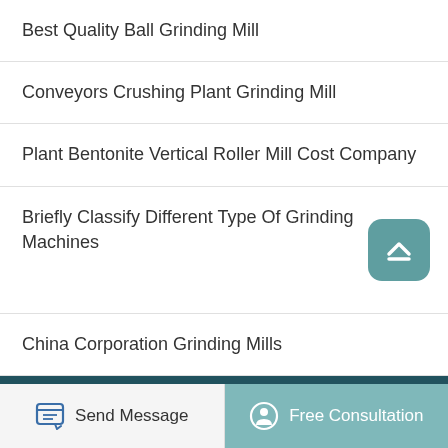Best Quality Ball Grinding Mill
Conveyors Crushing Plant Grinding Mill
Plant Bentonite Vertical Roller Mill Cost Company
Briefly Classify Different Type Of Grinding Machines
China Corporation Grinding Mills
Copyright © 2021.Robtic Mining Machinery Co., ltd. all rights reserved. sitemap
Send Message
Free Consultation